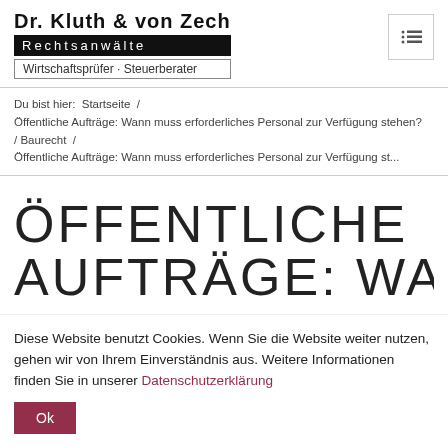Dr. Kluth & von Zech Rechtsanwälte Wirtschaftsprüfer · Steuerberater
Du bist hier: Startseite / Öffentliche Aufträge: Wann muss erforderliches Personal zur Verfügung stehen? / Baurecht / Öffentliche Aufträge: Wann muss erforderliches Personal zur Verfügung st...
ÖFFENTLICHE AUFTRÄGE: WANN
Diese Website benutzt Cookies. Wenn Sie die Website weiter nutzen, gehen wir von Ihrem Einverständnis aus. Weitere Informationen finden Sie in unserer Datenschutzerklärung